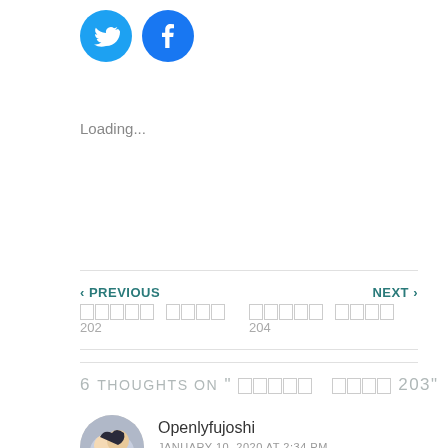[Figure (illustration): Two circular social media share buttons: Twitter (blue bird icon) and Facebook (blue f icon)]
Loading...
‹ PREVIOUS
□□□□□ □□□□ 202
NEXT ›
□□□□□ □□□□ 204
6 THOUGHTS ON "□□□□□ □□□□ 203"
[Figure (photo): Circular avatar image showing two anime characters]
Openlyfujoshi
JANUARY 10, 2020 AT 2:34 PM